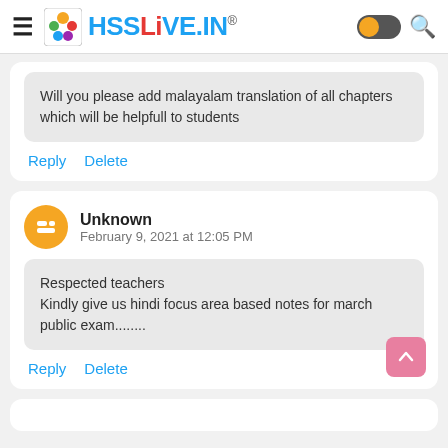HSSLiVE.IN®
Will you please add malayalam translation of all chapters which will be helpfull to students
Reply   Delete
Unknown
February 9, 2021 at 12:05 PM
Respected teachers
Kindly give us hindi focus area based notes for march public exam........
Reply   Delete